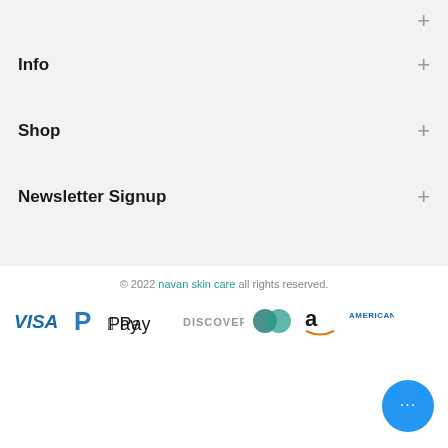Info
Shop
Newsletter Signup
© 2022 navan skin care all rights reserved.
[Figure (infographic): Payment method logos: VISA, PayPal, Apple Pay, Discover, Mastercard, Amazon, American Express]